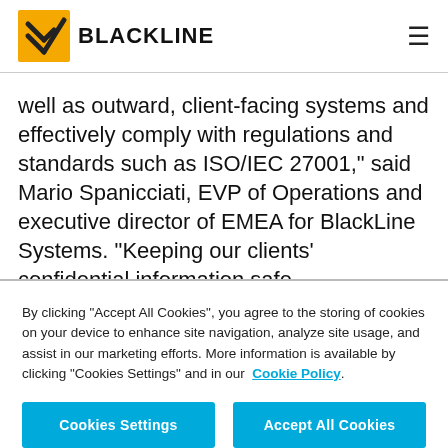BLACKLINE
well as outward, client-facing systems and effectively comply with regulations and standards such as ISO/IEC 27001," said Mario Spanicciati, EVP of Operations and executive director of EMEA for BlackLine Systems. “Keeping our clients’ confidential information safe
By clicking “Accept All Cookies”, you agree to the storing of cookies on your device to enhance site navigation, analyze site usage, and assist in our marketing efforts. More information is available by clicking “Cookies Settings” and in our Cookie Policy.
Cookies Settings | Accept All Cookies